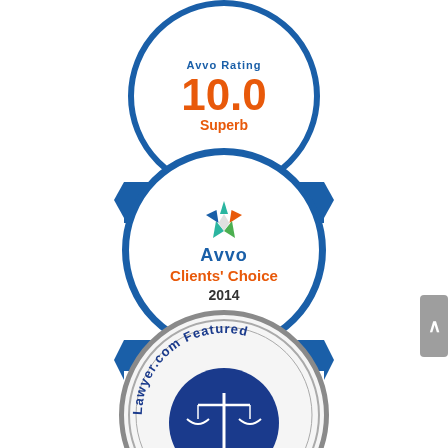[Figure (logo): AVVO Rating 10.0 Superb badge - Top Attorney Divorce. Blue circular badge with orange rating number and ribbon banner.]
[Figure (logo): Avvo Clients' Choice 2014 Divorce badge. Blue circular badge with Avvo star logo, orange text, and blue ribbon banner.]
[Figure (logo): Lawyer.com Featured badge. Gray circular badge with blue inner circle containing scales of justice, curved text around the edge, and gold stars at the bottom.]